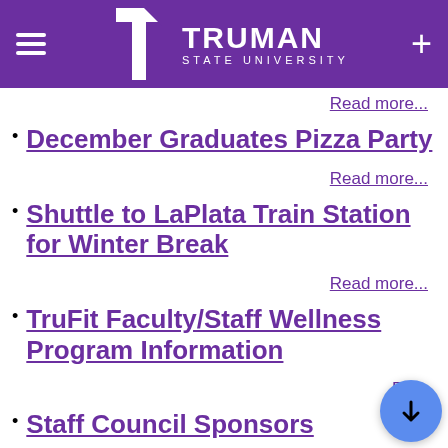Truman State University
Read more...
December Graduates Pizza Party
Read more...
Shuttle to LaPlata Train Station for Winter Break
Read more...
TruFit Faculty/Staff Wellness Program Information
Re...
Staff Council Sponsors